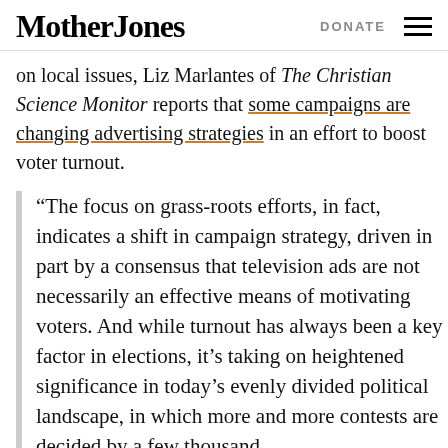Mother Jones | DONATE
on local issues, Liz Marlantes of The Christian Science Monitor reports that some campaigns are changing advertising strategies in an effort to boost voter turnout.
“The focus on grass-roots efforts, in fact, indicates a shift in campaign strategy, driven in part by a consensus that television ads are not necessarily an effective means of motivating voters. And while turnout has always been a key factor in elections, it’s taking on heightened significance in today’s evenly divided political landscape, in which more and more contests are decided by a few thousand